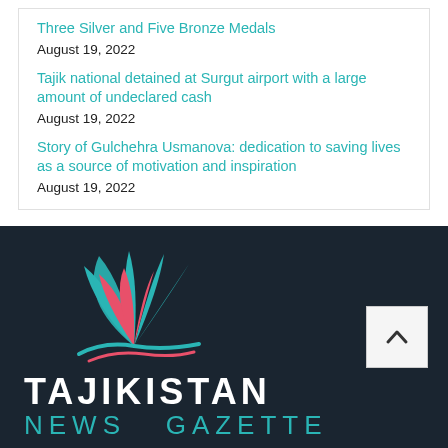Three Silver and Five Bronze Medals
August 19, 2022
Tajik national detained at Surgut airport with a large amount of undeclared cash
August 19, 2022
Story of Gulchehra Usmanova: dedication to saving lives as a source of motivation and inspiration
August 19, 2022
[Figure (logo): Tajikistan News Gazette logo with stylized flower/leaf design in teal and pink colors on dark navy background, with text TAJIKISTAN NEWS GAZETTE]